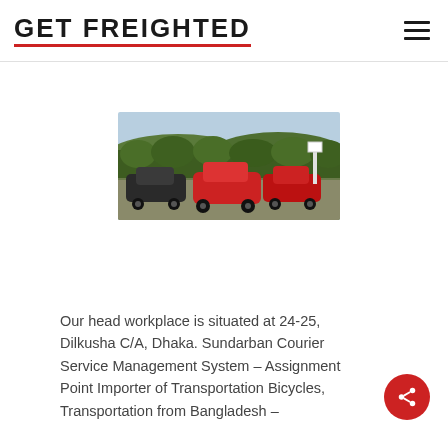GET FREIGHTED
[Figure (photo): Outdoor scene with vintage/classic red and dark cars parked in a field with green hedgerows and hills in the background]
Our head workplace is situated at 24-25, Dilkusha C/A, Dhaka. Sundarban Courier Service Management System – Assignment Point Importer of Transportation Bicycles, Transportation from Bangladesh –